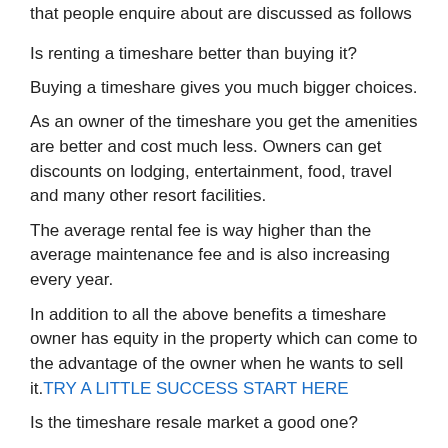that people enquire about are discussed as follows
Is renting a timeshare better than buying it?
Buying a timeshare gives you much bigger choices.
As an owner of the timeshare you get the amenities are better and cost much less. Owners can get discounts on lodging, entertainment, food, travel and many other resort facilities.
The average rental fee is way higher than the average maintenance fee and is also increasing every year.
In addition to all the above benefits a timeshare owner has equity in the property which can come to the advantage of the owner when he wants to sell it.TRY A LITTLE SUCCESS START HERE
Is the timeshare resale market a good one?